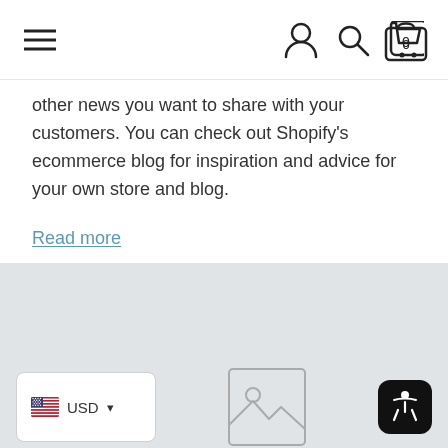[Navigation bar with hamburger menu, user icon, search icon, cart icon with 0]
other news you want to share with your customers. You can check out Shopify's ecommerce blog for inspiration and advice for your own store and blog.
Read more
USD currency selector, image placeholder, accessibility icon